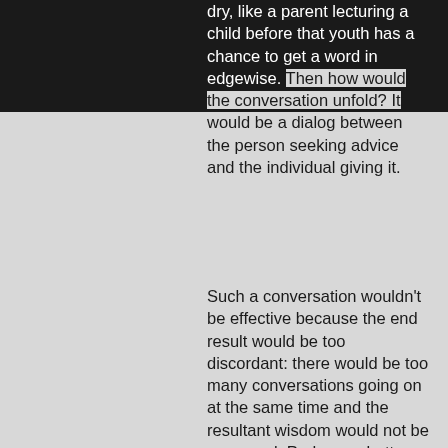dry, like a parent lecturing a child before that youth has a chance to get a word in edgewise. Then how would the conversation unfold? It would be a dialog between the person seeking advice and the individual giving it.
Such a conversation wouldn't be effective because the end result would be too discordant: there would be too many conversations going on at the same time and the resultant wisdom would not be conveyed. Perhaps a better narrative would revolve around a central character, which calls for the suspension of disbelief.